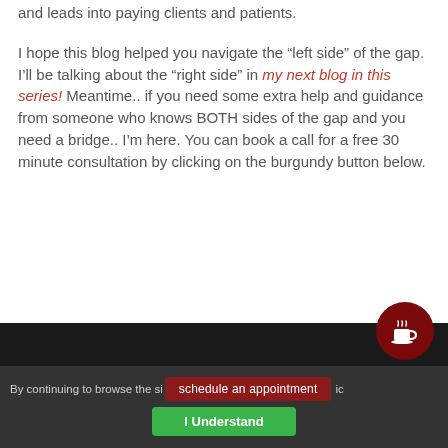and leads into paying clients and patients.
I hope this blog helped you navigate the “left side” of the gap. I’ll be talking about the “right side” in my next blog in this series! Meantime.. if you need some extra help and guidance from someone who knows BOTH sides of the gap and you need a bridge.. I’m here. You can book a call for a free 30 minute consultation by clicking on the burgundy button below.
[Figure (screenshot): Dark banner at bottom of page (partial)]
By continuing to browse the si...
[Figure (other): Schedule an appointment button (dark red) and I Understand button (green) in cookie consent bar, plus circular dark red coffee cup button]